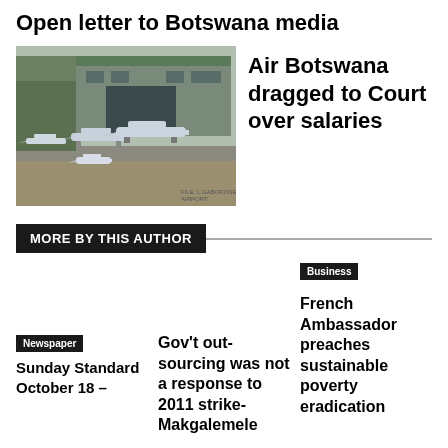Open letter to Botswana media
[Figure (photo): Aircraft parked on tarmac in front of a large hangar building, multiple planes visible including small and larger aircraft.]
Air Botswana dragged to Court over salaries
MORE BY THIS AUTHOR
Business
Gov't out-sourcing was not a response to 2011 strike-Makgalemele
Newspaper
Sunday Standard October 18 –
French Ambassador preaches sustainable poverty eradication